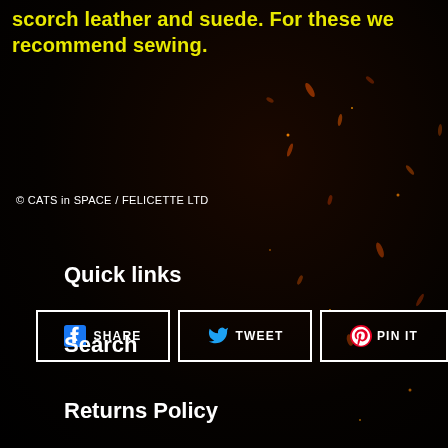scorch leather and suede. For these we recommend sewing.
© CATS in SPACE / FELICETTE LTD
[Figure (screenshot): Three social sharing buttons with white borders on dark background: Facebook SHARE button with blue Facebook icon, Twitter TWEET button with blue bird icon, Pinterest PIN IT button with red Pinterest icon]
Quick links
Search
Returns Policy